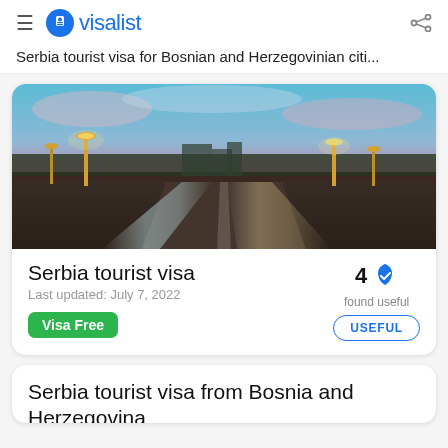visalist
Serbia tourist visa for Bosnian and Herzegovinian citi...
[Figure (photo): Nighttime road photo with light trails, street lamps, and a colorful pink/teal sky, appearing to show a boulevard in a city.]
Serbia tourist visa
Last updated: July 7, 2022
Visa Free
4 found useful
USEFUL
Serbia tourist visa from Bosnia and Herzegovina